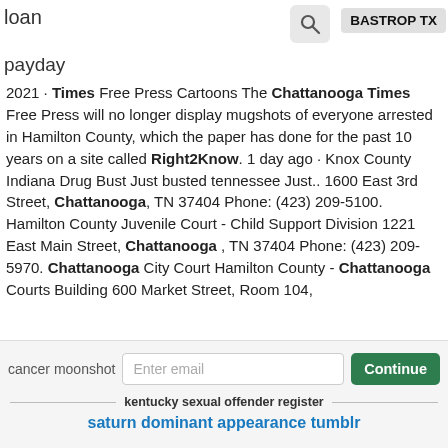loan
payday
2021 · Times Free Press Cartoons The Chattanooga Times Free Press will no longer display mugshots of everyone arrested in Hamilton County, which the paper has done for the past 10 years on a site called Right2Know. 1 day ago · Knox County Indiana Drug Bust Just busted tennessee Just.. 1600 East 3rd Street, Chattanooga, TN 37404 Phone: (423) 209-5100. Hamilton County Juvenile Court - Child Support Division 1221 East Main Street, Chattanooga , TN 37404 Phone: (423) 209-5970. Chattanooga City Court Hamilton County - Chattanooga Courts Building 600 Market Street, Room 104,
cancer moonshot
Enter email
Continue
kentucky sexual offender register
saturn dominant appearance tumblr